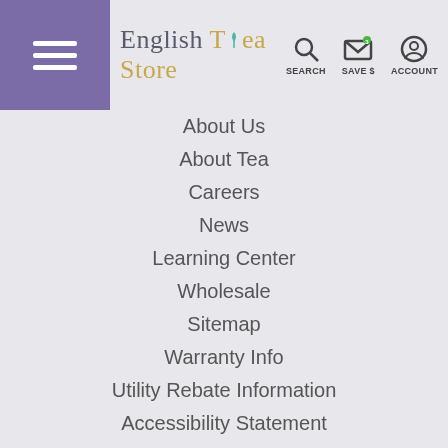[Figure (logo): English Tea Store logo with leaf icon and stylized text]
About Us
About Tea
Careers
News
Learning Center
Wholesale
Sitemap
Warranty Info
Utility Rebate Information
Accessibility Statement
CUSTOMER SERVICE
Customer Service
Refund and Return Policy
Privacy Policy
Terms of Service
Shipping Information
Customer Reviews
MY ACCOUNT